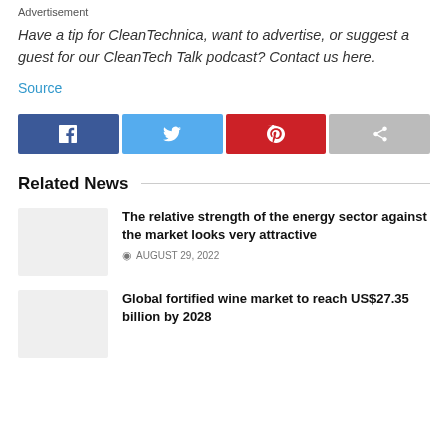Advertisement
Have a tip for CleanTechnica, want to advertise, or suggest a guest for our CleanTech Talk podcast? Contact us here.
Source
[Figure (other): Social share buttons: Facebook (blue), Twitter (light blue), Pinterest (red), Share (gray)]
Related News
The relative strength of the energy sector against the market looks very attractive
AUGUST 29, 2022
Global fortified wine market to reach US$27.35 billion by 2028